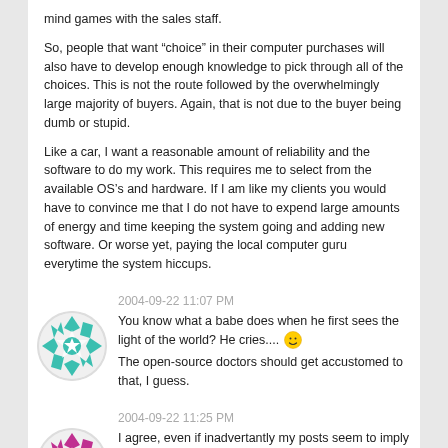mind games with the sales staff.
So, people that want “choice” in their computer purchases will also have to develop enough knowledge to pick through all of the choices. This is not the route followed by the overwhelmingly large majority of buyers. Again, that is not due to the buyer being dumb or stupid.
Like a car, I want a reasonable amount of reliability and the software to do my work. This requires me to select from the available OS’s and hardware. If I am like my clients you would have to convince me that I do not have to expend large amounts of energy and time keeping the system going and adding new software. Or worse yet, paying the local computer guru everytime the system hiccups.
2004-09-22 11:07 PM
You know what a babe does when he first sees the light of the world? He cries.... 😊
The open-source doctors should get accustomed to that, I guess.
2004-09-22 11:25 PM
I agree, even if inadvertantly my posts seem to imply otherwise 😟
I do not mean to denigrate the inteligence of anyone by the term “average user” etc. I know many lawyers, doctors, teachers and other professionals who are still just “average users” i.e. Their